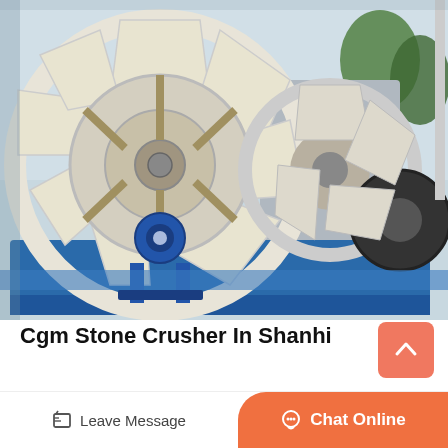[Figure (photo): Large industrial sand washing machine with white paddle wheel/screw mechanism and blue metal frame, photographed outdoors at what appears to be an equipment exhibition.]
Cgm Stone Crusher In Shanhi
Cgm stone crusher in shanhi. cgm crusher in china loscugnizzo
Leave Message
Chat Online